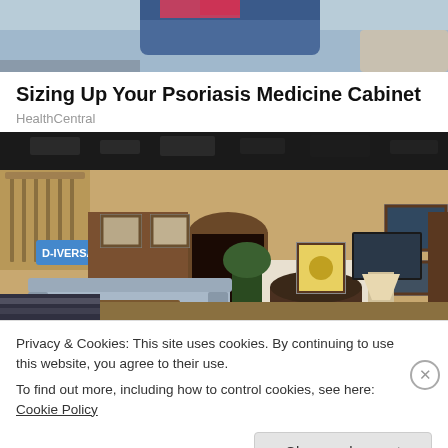[Figure (photo): Partial top image showing what appears to be legs/jeans and colorful background, cropped at top of page]
Sizing Up Your Psoriasis Medicine Cabinet
HealthCentral
[Figure (photo): Interior of a TV studio set resembling a living room with furniture, fireplace, framed pictures, plants, and studio lighting visible overhead. A banner reads 'D-IVERSARY!']
Privacy & Cookies: This site uses cookies. By continuing to use this website, you agree to their use.
To find out more, including how to control cookies, see here: Cookie Policy
Close and accept